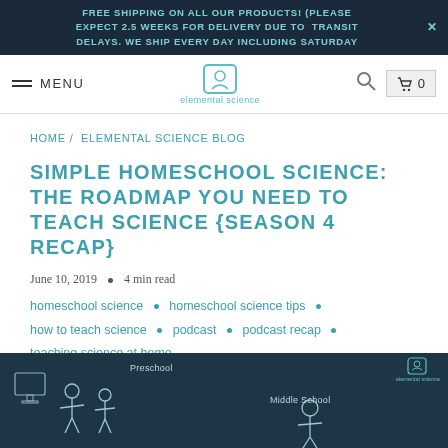FREE SHIPPING ON ALL OUR PRODUCTS! (PLEASE EXPECT 2.5 WEEKS FOR DELIVERY DUE TO TRANSIT DELAYS. WE SHIP EVERY DAY INCLUDING SATURDAY
MENU | elemental science | search | cart 0
HOME / ELEMENTAL SCIENCE BLOG
SIMPLE HOMESCHOOL SCIENCE: THE ROADMAP YOU NEED TO TEACH SCIENCE {SEASON 4 RECAP}
June 10, 2019 • 4 min read
homeschool science • homeschool science tips • how to teach science • podcast • podcast recap • teaching science at home
[Figure (illustration): Dark chalkboard-style illustration showing cartoon figures of children with labels for Preschool and Middle School, with elemental science logo in top right corner]